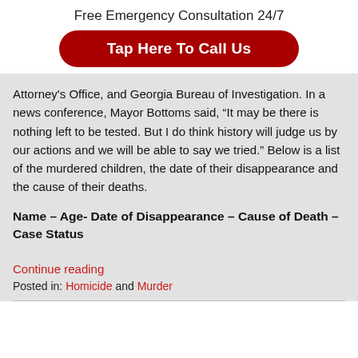Free Emergency Consultation 24/7
Tap Here To Call Us
Attorney's Office, and Georgia Bureau of Investigation. In a news conference, Mayor Bottoms said, “It may be there is nothing left to be tested. But I do think history will judge us by our actions and we will be able to say we tried.” Below is a list of the murdered children, the date of their disappearance and the cause of their deaths.
Name – Age- Date of Disappearance – Cause of Death – Case Status
Continue reading
Posted in: Homicide and Murder